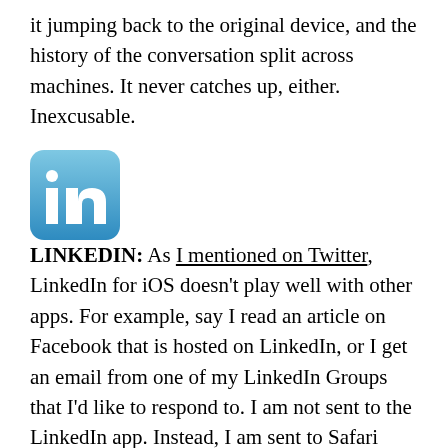it jumping back to the original device, and the history of the conversation split across machines. It never catches up, either. Inexcusable.
[Figure (logo): LinkedIn logo — blue rounded square with white 'in' text]
LINKEDIN: As I mentioned on Twitter, LinkedIn for iOS doesn't play well with other apps. For example, say I read an article on Facebook that is hosted on LinkedIn, or I get an email from one of my LinkedIn Groups that I'd like to respond to. I am not sent to the LinkedIn app. Instead, I am sent to Safari wherein I am presented with a landing page informing me that there is a LinkedIn iOS app and would I care to download it now? Weak and disappointing considering how well everything else on the LinkedIn app is. This is a